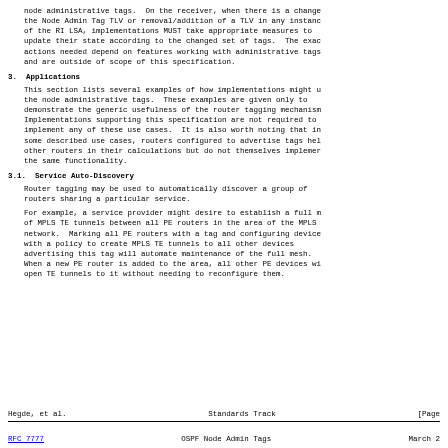node administrative tags.  On the receiver, when there is a change the Node Admin Tag TLV or removal/addition of a TLV in any instance of the RI LSA, implementations MUST take appropriate measures to update their state according to the changed set of tags.  The exact actions needed depend on features working with administrative tags and are outside of scope of this specification.
3.  Applications
This section lists several examples of how implementations might use the node administrative tags.  These examples are given only to demonstrate the generic usefulness of the router tagging mechanism. Implementations supporting this specification are not required to implement any of these use cases.  It is also worth noting that in some described use cases, routers configured to advertise tags help other routers in their calculations but do not themselves implement the same functionality.
3.1.  Service Auto-Discovery
Router tagging may be used to automatically discover a group of routers sharing a particular service.
For example, a service provider might desire to establish a full mesh of MPLS TE tunnels between all PE routers in the area of the MPLS network.  Marking all PE routers with a tag and configuring devices with a policy to create MPLS TE tunnels to all other devices advertising this tag will automate maintenance of the full mesh. When a new PE router is added to the area, all other PE devices will open TE tunnels to it without needing to reconfigure them.
Hegde, et al.                 Standards Track                    [Page
RFC 7777                   OSPF Node Admin Tags                  March 2